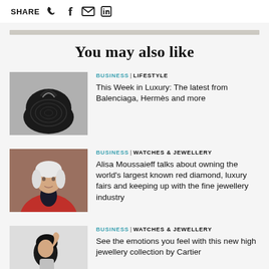SHARE
You may also like
[Figure (photo): Black sculptural handbag on grey background]
BUSINESS | LIFESTYLE
This Week in Luxury: The latest from Balenciaga, Hermès and more
[Figure (photo): Older woman with white hair in red blazer]
BUSINESS | WATCHES & JEWELLERY
Alisa Moussaieff talks about owning the world's largest known red diamond, luxury fairs and keeping up with the fine jewellery industry
[Figure (photo): Woman with dark hair posing]
BUSINESS | WATCHES & JEWELLERY
See the emotions you feel with this new high jewellery collection by Cartier